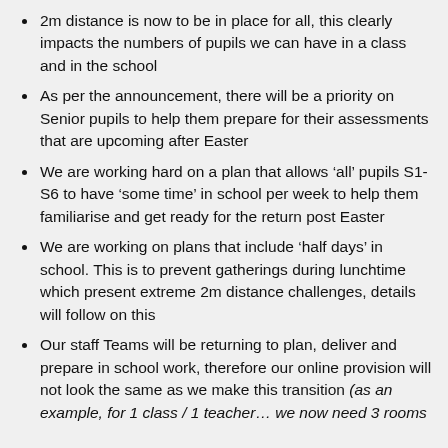2m distance is now to be in place for all, this clearly impacts the numbers of pupils we can have in a class and in the school
As per the announcement, there will be a priority on Senior pupils to help them prepare for their assessments that are upcoming after Easter
We are working hard on a plan that allows ‘all’ pupils S1-S6 to have ‘some time’ in school per week to help them familiarise and get ready for the return post Easter
We are working on plans that include ‘half days’ in school. This is to prevent gatherings during lunchtime which present extreme 2m distance challenges, details will follow on this
Our staff Teams will be returning to plan, deliver and prepare in school work, therefore our online provision will not look the same as we make this transition (as an example, for 1 class / 1 teacher… we now need 3 rooms